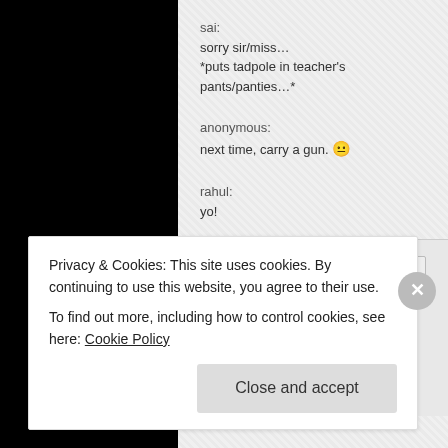sai:
sorry sir/miss...
*puts tadpole in teacher's pants/panties...*
anonymous:
next time, carry a gun. 😐
rahul:
yo!
Anonymous — June 20, 2006
Loved Sudhish's reviews of Mangal Pandey and RDB.Hate his review of Fanaa.I've read the Hindu review too.Go to topix.net for my reaction.
Privacy & Cookies: This site uses cookies. By continuing to use this website, you agree to their use.
To find out more, including how to control cookies, see here: Cookie Policy
Close and accept